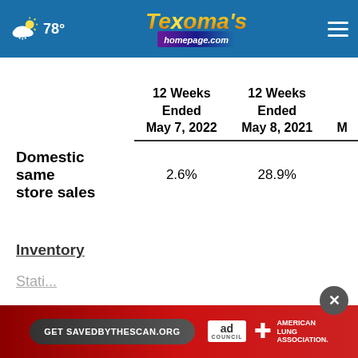78° Texoma's homepage.com
|  | 12 Weeks Ended May 7, 2022 | 12 Weeks Ended May 8, 2021 | M... |
| --- | --- | --- | --- |
| Domestic same store sales | 2.6% | 28.9% |  |
Inventory
Stati...
Stores)...
[Figure (advertisement): Ad banner: Get SAVEDBYTHESCAN.ORG - Ad Council - American Lung Association]